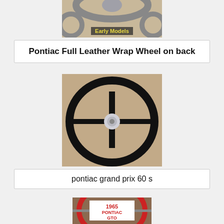[Figure (photo): Top portion of a Pontiac steering wheel product image with 'Early Models' label in yellow text]
Pontiac Full Leather Wrap Wheel on back
[Figure (photo): Black steering wheel (Pontiac Grand Prix 60s) with two spokes and chrome center hub, photographed on tan background]
pontiac grand prix 60 s
[Figure (photo): Red steering wheel labeled '1965 PONTIAC GTO' with chrome spokes, partial view]